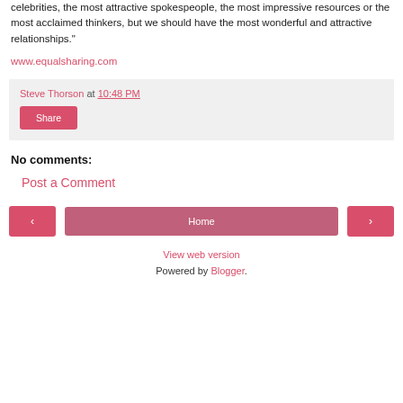celebrities, the most attractive spokespeople, the most impressive resources or the most acclaimed thinkers, but we should have the most wonderful and attractive relationships."
www.equalsharing.com
Steve Thorson at 10:48 PM
Share
No comments:
Post a Comment
‹
Home
›
View web version
Powered by Blogger.